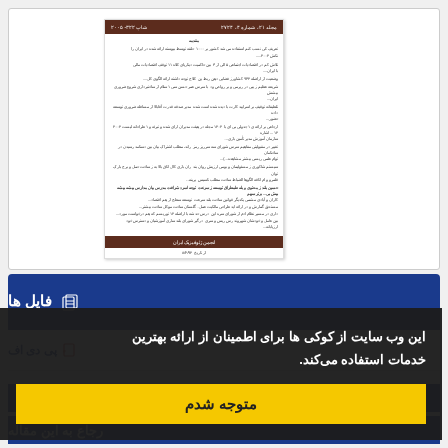[Figure (screenshot): Document preview showing a Persian academic journal article with brown header bars. Header shows volume/issue info and date 2008-342. Content shows Persian text abstract/table of contents. Footer bar shows 'انجمن ژئوفیزیک ایران' and a date number.]
فایل ها 📋
پی دی اف
این وب سایت از کوکی ها برای اطمینان از ارائه بهترین خدمات استفاده می‌کند.
متوجه شدم
رجاع به این مقاله